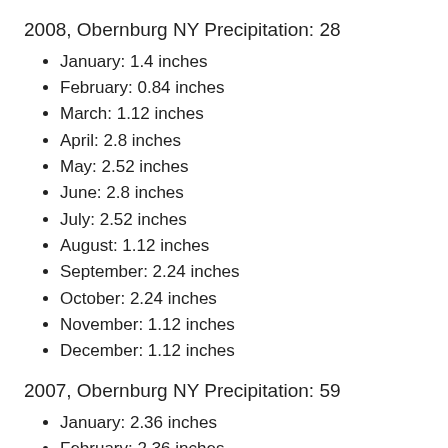2008, Obernburg NY Precipitation: 28
January: 1.4 inches
February: 0.84 inches
March: 1.12 inches
April: 2.8 inches
May: 2.52 inches
June: 2.8 inches
July: 2.52 inches
August: 1.12 inches
September: 2.24 inches
October: 2.24 inches
November: 1.12 inches
December: 1.12 inches
2007, Obernburg NY Precipitation: 59
January: 2.36 inches
February: 2.36 inches
March: 2.36 inches